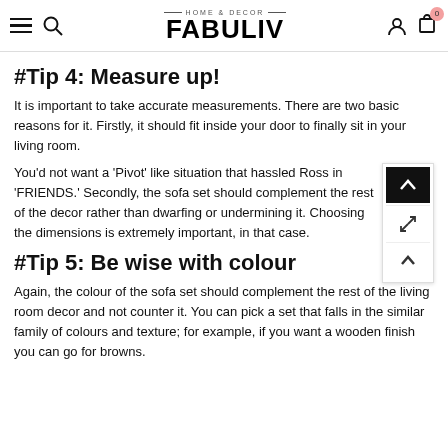HOME & DECOR FABULIV
#Tip 4: Measure up!
It is important to take accurate measurements. There are two basic reasons for it. Firstly, it should fit inside your door to finally sit in your living room.
You'd not want a 'Pivot' like situation that hassled Ross in 'FRIENDS.' Secondly, the sofa set should complement the rest of the decor rather than dwarfing or undermining it. Choosing the dimensions is extremely important, in that case.
#Tip 5: Be wise with colour
Again, the colour of the sofa set should complement the rest of the living room decor and not counter it. You can pick a set that falls in the similar family of colours and texture; for example, if you want a wooden finish you can go for browns.